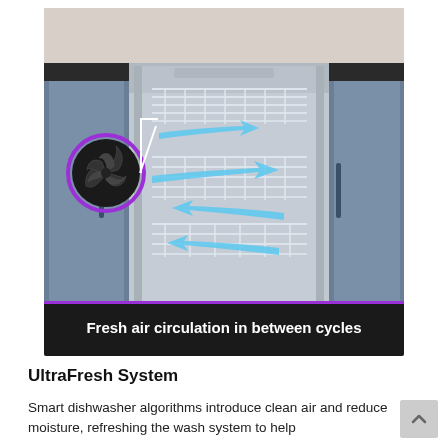[Figure (photo): Dishwasher with open door showing wire racks and blue air circulation arrows flowing through the interior. On the left side, a circular purple-rimmed fan vent is highlighted. At the bottom of the image, a dark banner reads 'Fresh air circulation in between cycles' in white bold text.]
UltraFresh System
Smart dishwasher algorithms introduce clean air and reduce moisture, refreshing the wash system to help